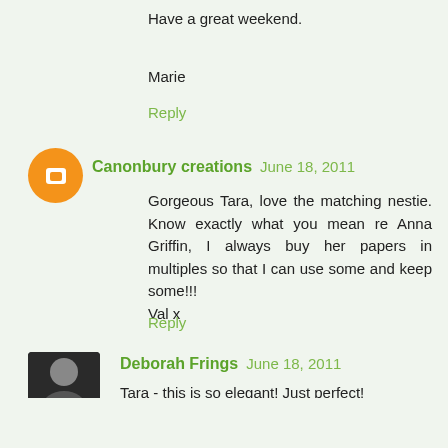Have a great weekend.
Marie
Reply
Canonbury creations  June 18, 2011
Gorgeous Tara, love the matching nestie. Know exactly what you mean re Anna Griffin, I always buy her papers in multiples so that I can use some and keep some!!!
Val x
Reply
Deborah Frings  June 18, 2011
Tara - this is so elegant! Just perfect!
Reply
Aileen  June 18, 2011